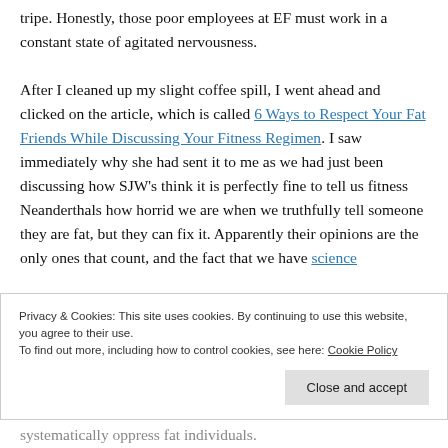tripe. Honestly, those poor employees at EF must work in a constant state of agitated nervousness.

After I cleaned up my slight coffee spill, I went ahead and clicked on the article, which is called 6 Ways to Respect Your Fat Friends While Discussing Your Fitness Regimen. I saw immediately why she had sent it to me as we had just been discussing how SJW's think it is perfectly fine to tell us fitness Neanderthals how horrid we are when we truthfully tell someone they are fat, but they can fix it. Apparently their opinions are the only ones that count, and the fact that we have science
Privacy & Cookies: This site uses cookies. By continuing to use this website, you agree to their use.
To find out more, including how to control cookies, see here: Cookie Policy
Close and accept
systematically oppress fat individuals.